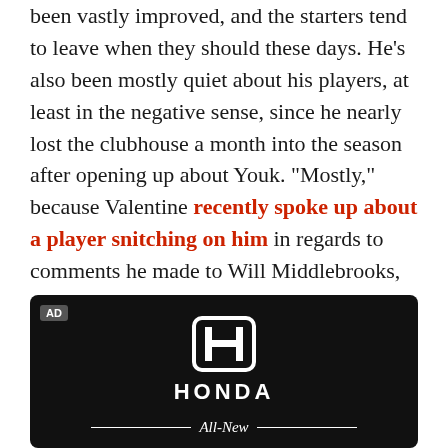been vastly improved, and the starters tend to leave when they should these days. He's also been mostly quiet about his players, at least in the negative sense, since he nearly lost the clubhouse a month into the season after opening up about Youk. "Mostly," because Valentine recently spoke up about a player snitching on him in regards to comments he made to Will Middlebrooks, comments that in turn got him a talking to from his bosses about his treatment of young players.
[Figure (logo): Honda advertisement with Honda logo and 'All-New' text on black background]